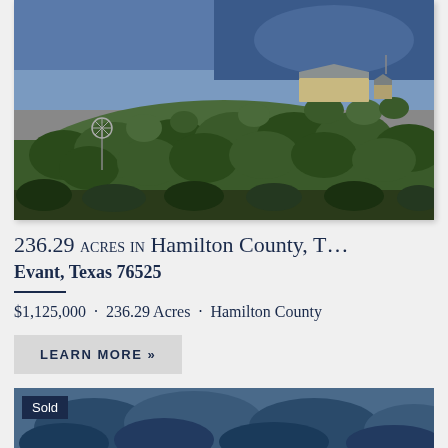[Figure (photo): Aerial/distant view of a ranch property on a hill with trees, a windmill in the lower left, and a building with a metal roof at the top of the hill against a blue sky.]
236.29 acres in Hamilton County, T...
Evant, Texas 76525
$1,125,000 · 236.29 Acres · Hamilton County
LEARN MORE »
[Figure (photo): Bottom portion showing a second listing photo with trees in a dark/blue-tinted landscape with a 'Sold' badge overlay.]